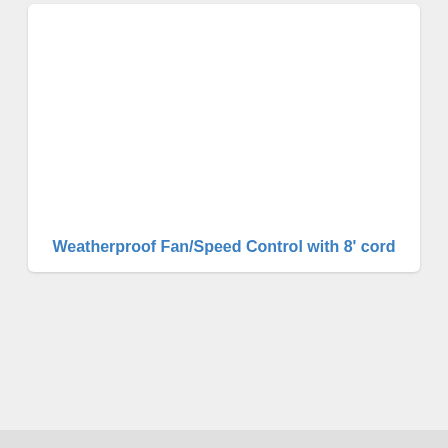Weatherproof Fan/Speed Control with 8' cord